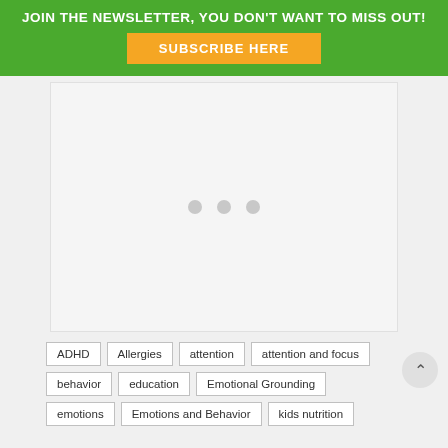JOIN THE NEWSLETTER, YOU DON'T WANT TO MISS OUT!
SUBSCRIBE HERE
[Figure (other): Advertisement placeholder area with three gray dots indicating loading]
ADHD
Allergies
attention
attention and focus
behavior
education
Emotional Grounding
emotions
Emotions and Behavior
kids nutrition